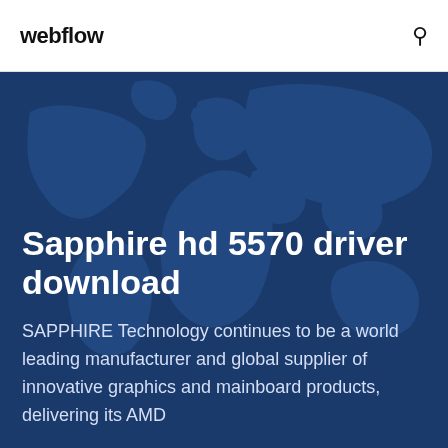webflow
Sapphire hd 5570 driver download
SAPPHIRE Technology continues to be a world leading manufacturer and global supplier of innovative graphics and mainboard products, delivering its AMD